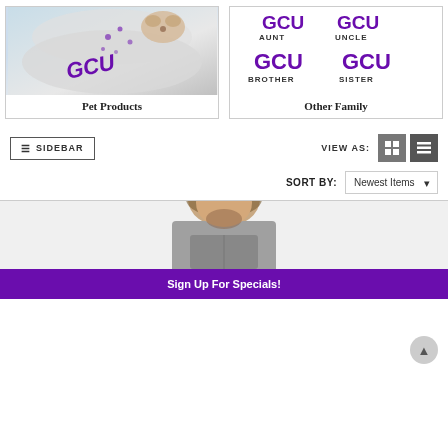[Figure (photo): Person wearing GCU branded white apparel with paw print decorations, holding a dog]
[Figure (illustration): GCU branded family relation labels: Aunt, Uncle, Brother, Sister in purple block letters]
Pet Products
Other Family
≡ SIDEBAR
VIEW AS:
SORT BY: Newest Items
[Figure (photo): Man wearing gray quarter-zip pullover, smiling, shown from shoulders up]
Sign Up For Specials!